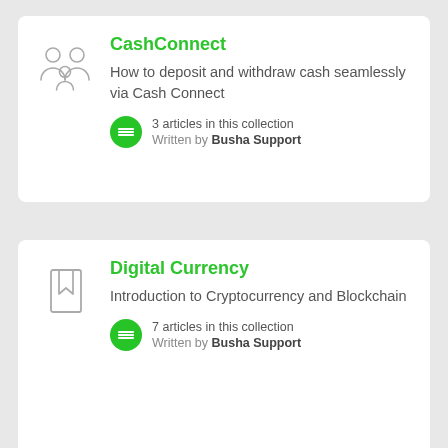[Figure (illustration): Card 1: CashConnect collection card with people/group icon]
CashConnect
How to deposit and withdraw cash seamlessly via Cash Connect
3 articles in this collection
Written by Busha Support
[Figure (illustration): Card 2: Digital Currency collection card with bookmark/book icon]
Digital Currency
Introduction to Cryptocurrency and Blockchain
7 articles in this collection
Written by Busha Support